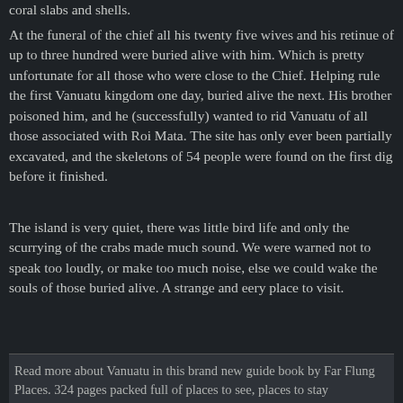coral slabs and shells.
At the funeral of the chief all his twenty five wives and his retinue of up to three hundred were buried alive with him. Which is pretty unfortunate for all those who were close to the Chief. Helping rule the first Vanuatu kingdom one day, buried alive the next. His brother poisoned him, and he (successfully) wanted to rid Vanuatu of all those associated with Roi Mata. The site has only ever been partially excavated, and the skeletons of 54 people were found on the first dig before it finished.
The island is very quiet, there was little bird life and only the scurrying of the crabs made much sound. We were warned not to speak too loudly, or make too much noise, else we could wake the souls of those buried alive. A strange and eery place to visit.
Read more about Vanuatu in this brand new guide book by Far Flung Places. 324 pages packed full of places to see, places to stay